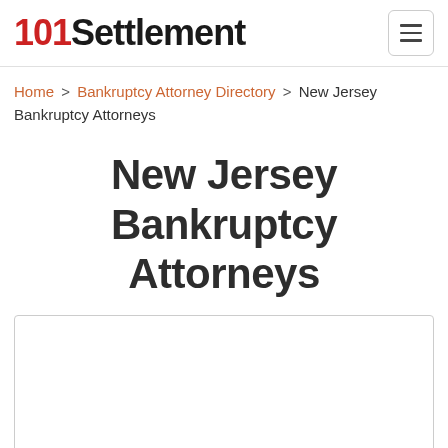101Settlement
Home > Bankruptcy Attorney Directory > New Jersey Bankruptcy Attorneys
New Jersey Bankruptcy Attorneys
[Figure (other): White content box with rounded border, empty advertisement or listing area]